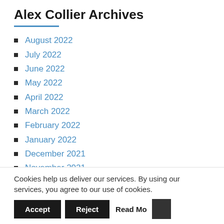Alex Collier Archives
August 2022
July 2022
June 2022
May 2022
April 2022
March 2022
February 2022
January 2022
December 2021
November 2021
October 2021
September 2021
Cookies help us deliver our services. By using our services, you agree to our use of cookies.